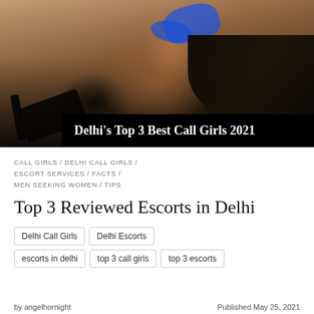[Figure (photo): Photo of a woman in a blue bikini posed on a bed, with black high heels. A black banner overlay at the bottom reads Delhi's Top 3 Best Call Girls 2021.]
CALL GIRLS / DELHI CALL GIRLS / ESCORT SERVICES / FACTS / MEN SEEKING WOMEN / TIPS
Top 3 Reviewed Escorts in Delhi
Delhi Call Girls
Delhi Escorts
escorts in delhi
top 3 call girls
top 3 escorts
by angelhornight
Published May 25, 2021